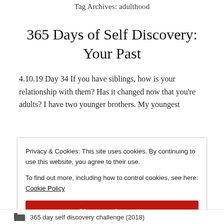Tag Archives: adulthood
365 Days of Self Discovery: Your Past
4.10.19 Day 34 If you have siblings, how is your relationship with them? Has it changed now that you're adults? I have two younger brothers. My youngest
Privacy & Cookies: This site uses cookies. By continuing to use this website, you agree to their use.
To find out more, including how to control cookies, see here: Cookie Policy
Close and accept
365 day self discovery challenge (2018)